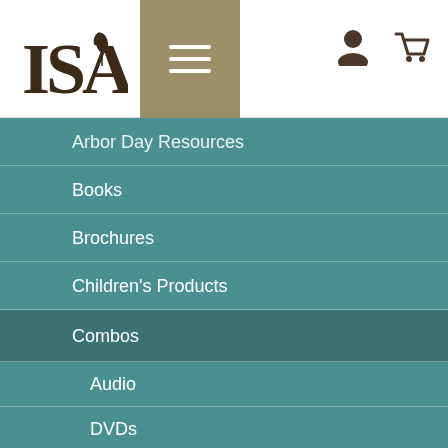[Figure (logo): ISA logo with oak leaf icon and stylized text]
Arbor Day Resources
Books
Brochures
Children's Products
Combos
Audio
DVDs
Exam Study Materials
Spanish Products